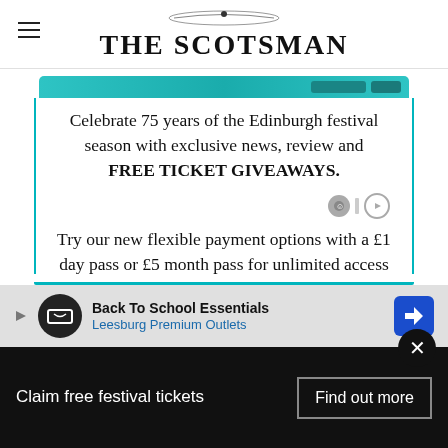THE SCOTSMAN
[Figure (screenshot): Teal/cyan colored banner top partial, showing edge of a promotional tablet/device image]
Celebrate 75 years of the Edinburgh festival season with exclusive news, review and FREE TICKET GIVEAWAYS.
Try our new flexible payment options with a £1 day pass or £5 month pass for unlimited access only for the festival period.
[Figure (infographic): Ad banner: Back To School Essentials - Leesburg Premium Outlets with navigation icon]
Claim free festival tickets
Find out more